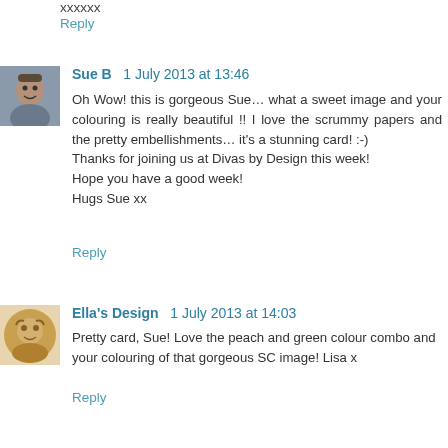xxxxxx
Reply
Sue B  1 July 2013 at 13:46
Oh Wow! this is gorgeous Sue… what a sweet image and your colouring is really beautiful !! I love the scrummy papers and the pretty embellishments… it's a stunning card! :-)
Thanks for joining us at Divas by Design this week!
Hope you have a good week!
Hugs Sue xx
Reply
Ella's Design  1 July 2013 at 14:03
Pretty card, Sue! Love the peach and green colour combo and your colouring of that gorgeous SC image! Lisa x
Reply